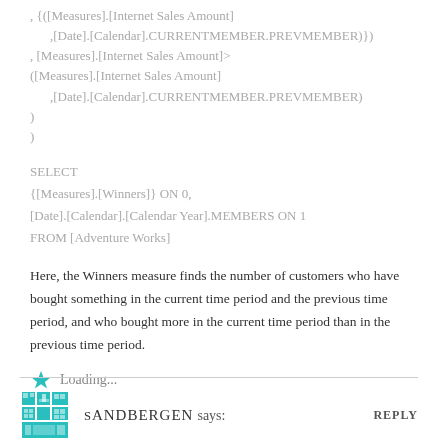, {([Measures].[Internet Sales Amount]
,[Date].[Calendar].CURRENTMEMBER.PREVMEMBER)})
, [Measures].[Internet Sales Amount]>
([Measures].[Internet Sales Amount]
,[Date].[Calendar].CURRENTMEMBER.PREVMEMBER)
)
)
SELECT
{[Measures].[Winners]} ON 0,
[Date].[Calendar].[Calendar Year].MEMBERS ON 1
FROM [Adventure Works]
Here, the Winners measure finds the number of customers who have bought something in the current time period and the previous time period, and who bought more in the current time period than in the previous time period.
Loading...
SANDBERGEN says:
REPLY